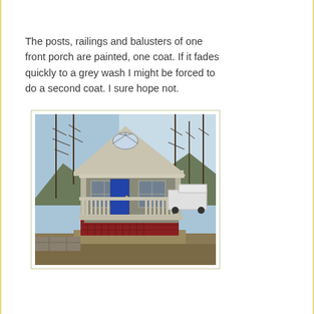The posts, railings and balusters of one front porch are painted, one coat. If it fades quickly to a grey wash I might be forced to do a second coat. I sure hope not.
[Figure (photo): Front view of a small grey cottage-style house with a covered front porch, white railings and balusters, blue front door, peaked roof with decorative fan window, set on a hillside with bare trees in the background and a white truck visible to the right. Red lattice-work visible beneath the porch deck.]